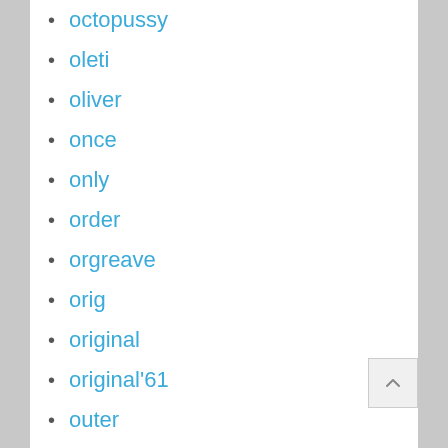octopussy
oleti
oliver
once
only
order
orgreave
orig
original
original'61
outer
outlaw
outsiders
ozzy
pacific
paint
pair
paper